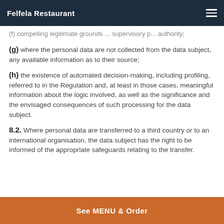Felfela Restaurant
(f) ...compelling legitimate grounds p... authority;
(g) where the personal data are not collected from the data subject, any available information as to their source;
(h) the existence of automated decision-making, including profiling, referred to in the Regulation and, at least in those cases, meaningful information about the logic involved, as well as the significance and the envisaged consequences of such processing for the data subject.
8.2. Where personal data are transferred to a third country or to an international organisation, the data subject has the right to be informed of the appropriate safeguards relating to the transfer.
See MENU & Order